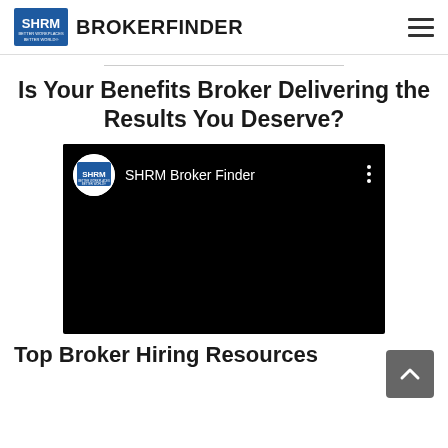SHRM BROKERFINDER
Is Your Benefits Broker Delivering the Results You Deserve?
[Figure (screenshot): Embedded video player thumbnail showing SHRM Broker Finder YouTube channel header on black background]
Top Broker Hiring Resources